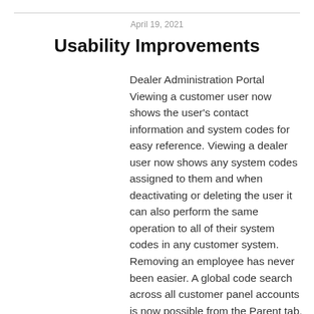April 19, 2021
Usability Improvements
Dealer Administration Portal Viewing a customer user now shows the user's contact information and system codes for easy reference. Viewing a dealer user now shows any system codes assigned to them and when deactivating or deleting the user it can also perform the same operation to all of their system codes in any customer system. Removing an employee has never been easier. A global code search across all customer panel accounts is now possible from the Parent tab. Thi...